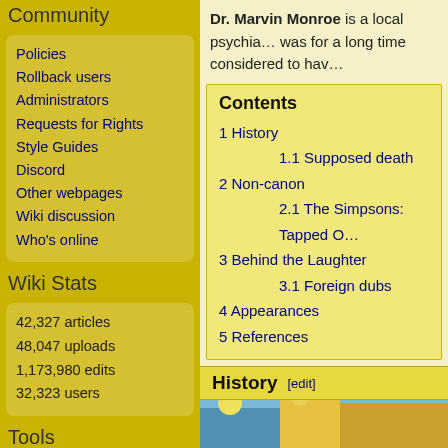Community
Policies
Rollback users
Administrators
Requests for Rights
Style Guides
Discord
Other webpages
Wiki discussion
Who's online
Wiki Stats
42,327 articles
48,047 uploads
1,173,980 edits
32,323 users
Tools
What links here
Related changes
Special pages
Dr. Marvin Monroe is a local psychia… was for a long time considered to hav…
Contents
1 History
1.1 Supposed death
2 Non-canon
2.1 The Simpsons: Tapped O…
3 Behind the Laughter
3.1 Foreign dubs
4 Appearances
5 References
History [edit]
[Figure (photo): Image strip at bottom of article, showing a colorful scene from The Simpsons]